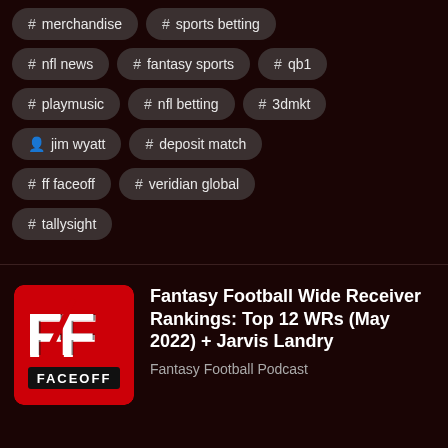# merchandise
# sports betting
# nfl news
# fantasy sports
# qb1
# playmusic
# nfl betting
# 3dmkt
jim wyatt
# deposit match
# ff faceoff
# veridian global
# tallysight
[Figure (logo): FF Faceoff podcast logo — red square with FF lettering and FACEOFF text]
Fantasy Football Wide Receiver Rankings: Top 12 WRs (May 2022) + Jarvis Landry
Fantasy Football Podcast